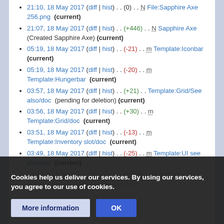21:10, 18 May 2017 (diff | hist) . . (0) . . N File:Sapphire Axe 256.png (current)
21:07, 18 May 2017 (diff | hist) . . (+446) . . N Sapphire Axe (Created Sapphire Axe) (current)
05:19, 18 May 2017 (diff | hist) . . (-21) . . m Template:Iconbar (current)
05:19, 18 May 2017 (diff | hist) . . (-20) . . m Template:Hungerbar (current)
03:57, 18 May 2017 (diff | hist) . . (+21) . . Template:Grid/See also/doc (pending for deletion) (current)
03:56, 18 May 2017 (diff | hist) . . (+30) . . m Template:Grid/doc (current)
03:51, 18 May 2017 (diff | hist) . . (-13) . . m Template:Inventory slot/doc (current)
03:49, 18 May 2017 (diff | hist) . . (-25) . . m Template:UI see also/doc (current)
03:49, 18 May 2017 (diff | hist) . . (+454) . . N Template:UI see also/doc (Create UI see also doc)
03:49, 18 May 2017 (diff | hist) . . (+246) . . N Template:UI see also (Create UI see also) (current)
03:45, 18 May 2017 (diff | hist) . . Template:Slot (Created redirect shortcut) (current)
03:45, 18 May 2017 (diff | hist) . . (+8,263) . . N
Cookies help us deliver our services. By using our services, you agree to our use of cookies.
More information | OK